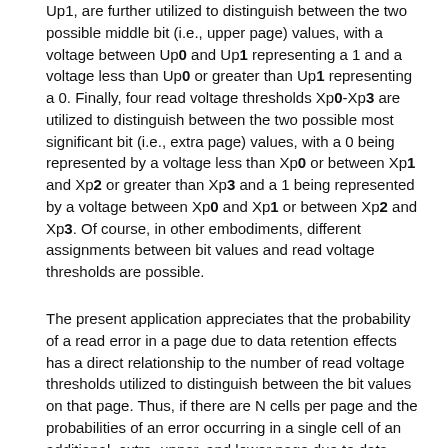Up1, are further utilized to distinguish between the two possible middle bit (i.e., upper page) values, with a voltage between Up0 and Up1 representing a 1 and a voltage less than Up0 or greater than Up1 representing a 0. Finally, four read voltage thresholds Xp0-Xp3 are utilized to distinguish between the two possible most significant bit (i.e., extra page) values, with a 0 being represented by a voltage less than Xp0 or between Xp1 and Xp2 or greater than Xp3 and a 1 being represented by a voltage between Xp0 and Xp1 or between Xp2 and Xp3. Of course, in other embodiments, different assignments between bit values and read voltage thresholds are possible.
The present application appreciates that the probability of a read error in a page due to data retention effects has a direct relationship to the number of read voltage thresholds utilized to distinguish between the bit values on that page. Thus, if there are N cells per page and the probabilities of an error occurring in a single cell of an additional, extra, upper, and lower page due to data retention effects are given by pa, px, pu, and pl, respectively, then it necessarily follows that Npa>Npx>Npu>Npl. Consequently, in accordance with at least one embodiment, instead of